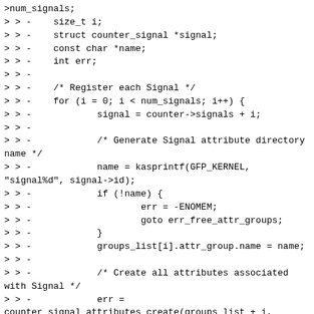>num_signals;
> > -    size_t i;
> > -    struct counter_signal *signal;
> > -    const char *name;
> > -    int err;
> > -
> > -    /* Register each Signal */
> > -    for (i = 0; i < num_signals; i++) {
> > -            signal = counter->signals + i;
> > -
> > -            /* Generate Signal attribute directory name */
> > -            name = kasprintf(GFP_KERNEL, "signal%d", signal->id);
> > -            if (!name) {
> > -                    err = -ENOMEM;
> > -                    goto err_free_attr_groups;
> > -            }
> > -            groups_list[i].attr_group.name = name;
> > -
> > -            /* Create all attributes associated with Signal */
> > -            err =
counter_signal_attributes_create(groups_list + i,
counter,
> > -
signal);
> > -            if (err)
> > -                    goto err_free_attr_groups;
> > -    }